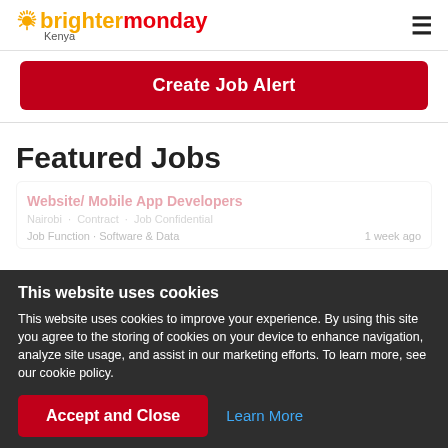[Figure (logo): BrighterMonday Kenya logo with sun icon, orange 'brighter' and red 'monday' text, 'Kenya' subtitle]
Create Job Alert
Featured Jobs
Website/ Mobile App Developers
This website uses cookies
This website uses cookies to improve your experience. By using this site you agree to the storing of cookies on your device to enhance navigation, analyze site usage, and assist in our marketing efforts. To learn more, see our cookie policy.
Accept and Close
Learn More
Job Function · Software & Data
1 week ago